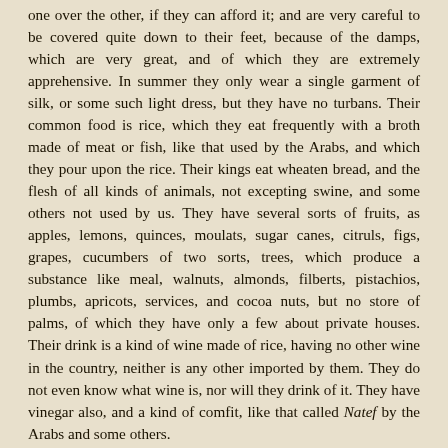one over the other, if they can afford it; and are very careful to be covered quite down to their feet, because of the damps, which are very great, and of which they are extremely apprehensive. In summer they only wear a single garment of silk, or some such light dress, but they have no turbans. Their common food is rice, which they eat frequently with a broth made of meat or fish, like that used by the Arabs, and which they pour upon the rice. Their kings eat wheaten bread, and the flesh of all kinds of animals, not excepting swine, and some others not used by us. They have several sorts of fruits, as apples, lemons, quinces, moulats, sugar canes, citruls, figs, grapes, cucumbers of two sorts, trees, which produce a substance like meal, walnuts, almonds, filberts, pistachios, plumbs, apricots, services, and cocoa nuts, but no store of palms, of which they have only a few about private houses. Their drink is a kind of wine made of rice, having no other wine in the country, neither is any other imported by them. They do not even know what wine is, nor will they drink of it. They have vinegar also, and a kind of comfit, like that called Natef by the Arabs and some others.
The Chinese are by no means nice in point of cleanliness, not washing with water when they ease nature but only wiping with paper. They do not scruple to eat of animals which have died, and they practise many other things like the Magians;[9] and in truth, the two religions are much similar. Their women appear uncovered, and adorn their heads with many small ivory combs, of which they wear sometimes a score at one time. The heads of the